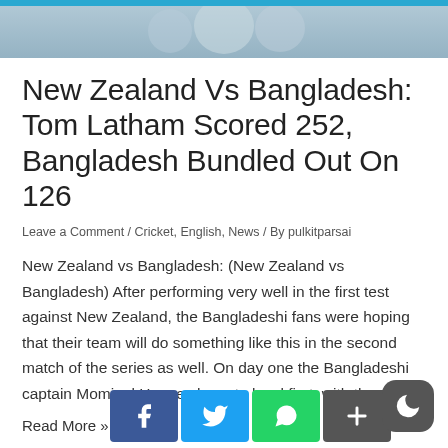[Figure (photo): Blurred photo of cricket players in white uniforms at top of page]
New Zealand Vs Bangladesh: Tom Latham Scored 252, Bangladesh Bundled Out On 126
Leave a Comment / Cricket, English, News / By pulkitparsai
New Zealand vs Bangladesh: (New Zealand vs Bangladesh) After performing very well in the first test against New Zealand, the Bangladeshi fans were hoping that their team will do something like this in the second match of the series as well. On day one the Bangladeshi captain Mominul Haque chose to bowl first, with the ...
Read More »